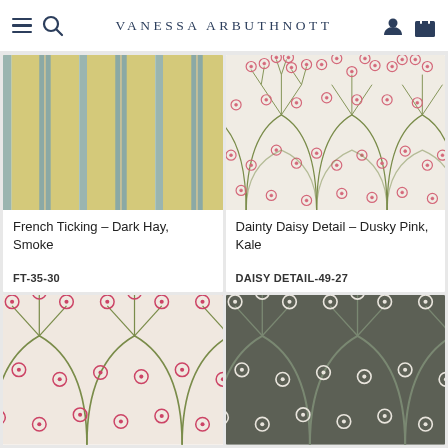Vanessa Arbuthnott
[Figure (photo): French Ticking fabric in Dark Hay and Smoke colorway showing vertical stripes in yellow/ochre and grey-blue tones]
French Ticking – Dark Hay, Smoke
FT-35-30
[Figure (photo): Dainty Daisy Detail fabric in Dusky Pink and Kale colorway showing small daisy flowers on cream background with olive stems]
Dainty Daisy Detail – Dusky Pink, Kale
DAISY DETAIL-49-27
[Figure (photo): Dainty Daisy fabric in pink/red colorway on cream background]
[Figure (photo): Dainty Daisy fabric in dark grey/charcoal colorway with white flower outlines]